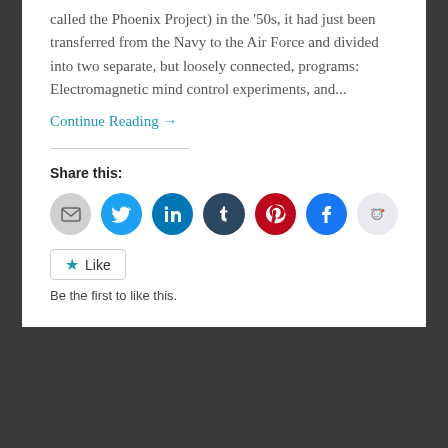...called the Phoenix Project) in the '50s, it had just been transferred from the Navy to the Air Force and divided into two separate, but loosely connected, programs: Electromagnetic mind control experiments, and...
Continue Reading →
Share this:
[Figure (infographic): Row of social media sharing icon buttons: email (grey), Twitter (blue), LinkedIn (blue), Tumblr (dark blue), Pinterest (red), Facebook (blue), Reddit (light grey)]
★ Like
Be the first to like this.
November 17, 2009   15
Reily of Reason: Beyond...